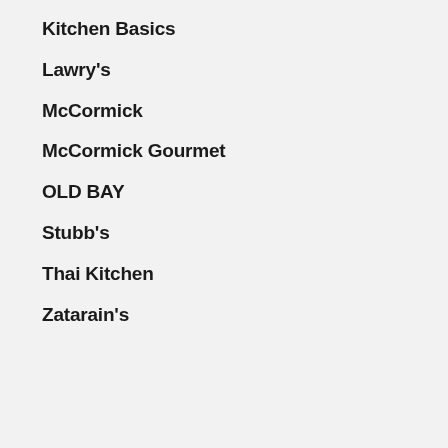Kitchen Basics
Lawry's
McCormick
McCormick Gourmet
OLD BAY
Stubb's
Thai Kitchen
Zatarain's